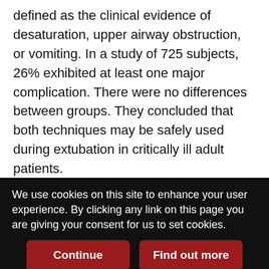defined as the clinical evidence of desaturation, upper airway obstruction, or vomiting. In a study of 725 subjects, 26% exhibited at least one major complication. There were no differences between groups. They concluded that both techniques may be safely used during extubation in critically ill adult patients.
Cui and others provide a narrative review on ergonomics and personalization of NIV face masks. They suggest guidelines for mask selection and troubleshooting during mask use as well as ergonomic approaches including face anthropometry, sizing systems, mask design, evaluation, and personalization. Pavlov and others provide a systematic review of awake prone positioning in subjects with acute hypoxemia with COVID-19. They found a consistent improvement in
We use cookies on this site to enhance your user experience. By clicking any link on this page you are giving your consent for us to set cookies.
Continue
Find out more